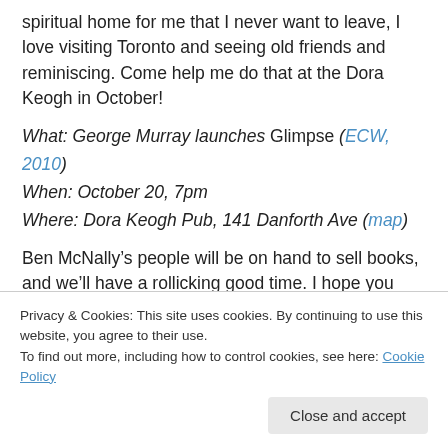spiritual home for me that I never want to leave, I love visiting Toronto and seeing old friends and reminiscing. Come help me do that at the Dora Keogh in October!
What: George Murray launches Glimpse (ECW, 2010)
When: October 20, 7pm
Where: Dora Keogh Pub, 141 Danforth Ave (map)
Ben McNally’s people will be on hand to sell books, and we’ll have a rollicking good time. I hope you can join me and the good people of ECW for the evening. Here’s a Facebook event page for the more formally inclined to
Privacy & Cookies: This site uses cookies. By continuing to use this website, you agree to their use.
To find out more, including how to control cookies, see here: Cookie Policy
Close and accept